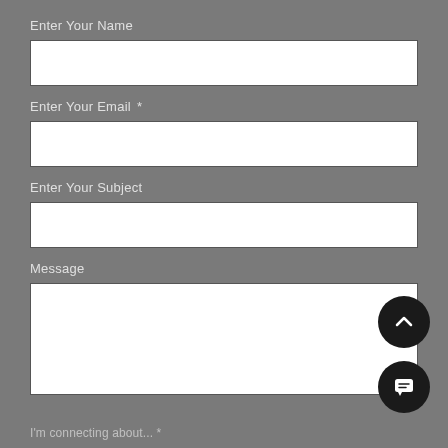Enter Your Name
[Figure (screenshot): Empty white input field for name]
Enter Your Email *
[Figure (screenshot): Empty white input field for email]
Enter Your Subject
[Figure (screenshot): Empty white input field for subject]
Message
[Figure (screenshot): Empty white textarea for message]
[Figure (other): Black circular scroll-up button with chevron icon]
[Figure (other): Black circular chat button with speech bubble icon]
I'm connecting about... *